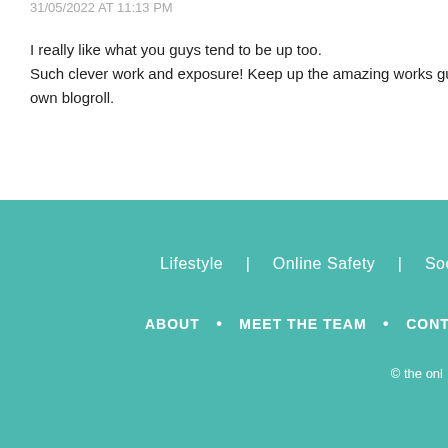31/05/2022 AT 11:13 PM
I really like what you guys tend to be up too.
Such clever work and exposure! Keep up the amazing works gu
own blogroll.
Lifestyle | Online Safety | Social
ABOUT • MEET THE TEAM • CONTA
© the onl